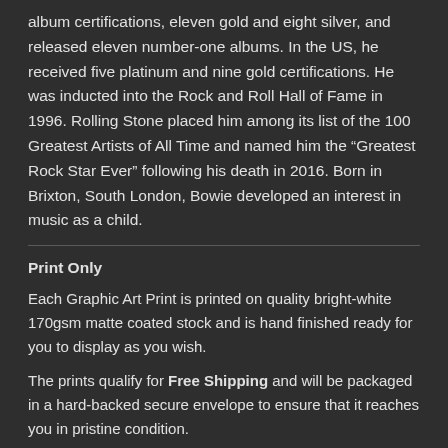album certifications, eleven gold and eight silver, and released eleven number-one albums. In the US, he received five platinum and nine gold certifications. He was inducted into the Rock and Roll Hall of Fame in 1996. Rolling Stone placed him among its list of the 100 Greatest Artists of All Time and named him the “Greatest Rock Star Ever” following his death in 2016. Born in Brixton, South London, Bowie developed an interest in music as a child.
Print Only
Each Graphic Art Print is printed on quality bright-white 170gsm matte coated stock and is hand finished ready for you to display as you wish.
The prints qualify for Free Shipping and will be packaged in a hard-backed secure envelope to ensure that it reaches you in pristine condition.
Dimensions
Graphic Art Prints measure 20cm x 20cm *